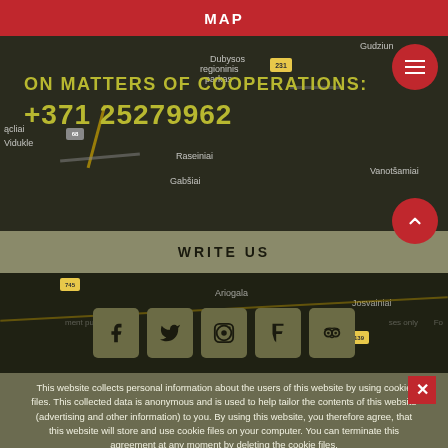MAP
[Figure (map): Road map background showing Lithuanian region with labels: Dubysos regioninis parkas, Gudziun, Vidukle, Raseiniai, Gabsiai, Ariogala, Josvainiai]
ON MATTERS OF COOPERATIONS:
+371 25279962
WRITE US
[Figure (infographic): Social media icons: Facebook, Twitter, Instagram/other, Foursquare, TripAdvisor — each in an olive/khaki square button]
This website collects personal information about the users of this website by using cookie files. This collected data is anonymous and is used to help tailor the contents of this website (advertising and other information) to you. By using this website, you therefore agree, that this website will store and use cookie files on your computer. You can terminate this agreement at any moment by deleting the cookie files.